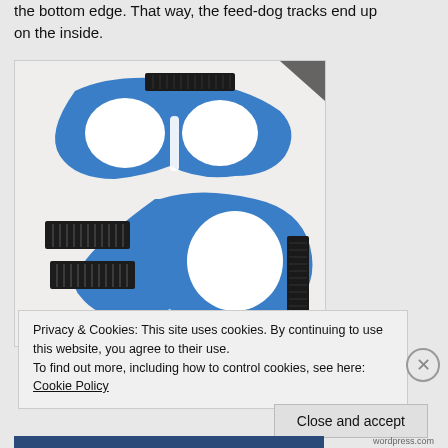the bottom edge. That way, the feed-dog tracks end up on the inside.
[Figure (photo): Blue foam or fabric eye mask pieces laid flat with black velcro strips beside them. The mask shape shows two oval eye openings and a connecting bridge piece with a white slot. Two rectangular black velcro pieces are placed to the lower left.]
Privacy & Cookies: This site uses cookies. By continuing to use this website, you agree to their use.
To find out more, including how to control cookies, see here: Cookie Policy
Close and accept